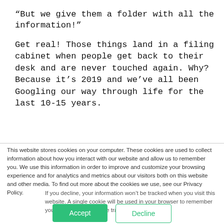“But we give them a folder with all the information!”
Get real! Those things land in a filing cabinet when people get back to their desk and are never touched again. Why? Because it’s 2019 and we’ve all been Googling our way through life for the last 10-15 years.
This website stores cookies on your computer. These cookies are used to collect information about how you interact with our website and allow us to remember you. We use this information in order to improve and customize your browsing experience and for analytics and metrics about our visitors both on this website and other media. To find out more about the cookies we use, see our Privacy Policy.
If you decline, your information won’t be tracked when you visit this website. A single cookie will be used in your browser to remember your preference not to be tracked.